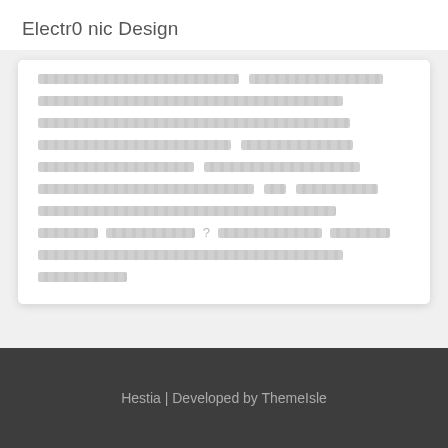Electr0 nic Design
[Figure (screenshot): A white card with multiple rows of placeholder/redacted text shown as repeating diamond-pattern grey bars, simulating lorem ipsum content blocks in a web page layout.]
Hestia | Developed by ThemeIsle